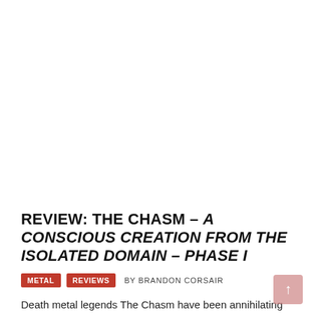[Figure (photo): Large image area at the top of the page (album art or band photo, shown as white/blank in this rendering)]
REVIEW: THE CHASM – A CONSCIOUS CREATION FROM THE ISOLATED DOMAIN – PHASE I
METAL   REVIEWS   BY BRANDON CORSAIR
Death metal legends The Chasm have been annihilating and